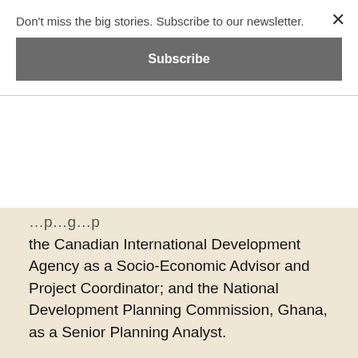Don't miss the big stories. Subscribe to our newsletter.
Subscribe
the Canadian International Development Agency as a Socio-Economic Advisor and Project Coordinator; and the National Development Planning Commission, Ghana, as a Senior Planning Analyst.
Before his appointment as Governor of the Bank of Ghana, he was the Second Deputy Governor and Executive Board member with oversight responsibilities of nine departments including Economics, Statistics, Finance, Legal, Banking Supervision and Financial Stability.